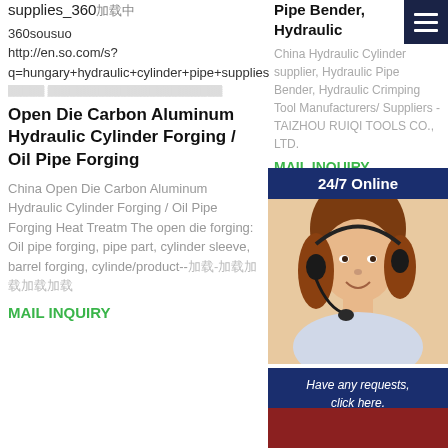supplies_360加载中
360sousuo
http://en.so.com/s?q=hungary+hydraulic+cylinder+pipe+supplies
加载 加载加载加载加载加载加载加载加载加载加载加载加载加载加载
Open Die Carbon Aluminum Hydraulic Cylinder Forging / Oil Pipe Forging
China Open Die Carbon Aluminum Hydraulic Cylinder Forging / Oil Pipe Forging Heat Treatm The open die forging: Oil pipe forging, pipe part, cylinder sleeve, barrel forging, cylinde/product--加载-加载加载加载加载
MAIL INQUIRY
Pipe Bender, Hydraulic
China Hydraulic Cylinder supplier, Hydraulic Pipe Bender, Hydraulic Crimping Tool Manufacturers/ Suppliers - TAIZHOU RUIQI TOOLS CO., LTD.
MAIL INQUIRY
[Figure (photo): Customer service representative with headset, 24/7 Online chat widget with dark blue header, message 'Have any requests, click here.' and orange Quotation button]
[Figure (photo): Red/dark red background image at bottom right]